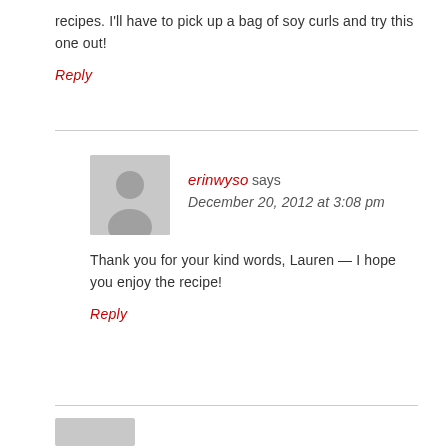recipes. I'll have to pick up a bag of soy curls and try this one out!
Reply
erinwyso says
December 20, 2012 at 3:08 pm
Thank you for your kind words, Lauren — I hope you enjoy the recipe!
Reply